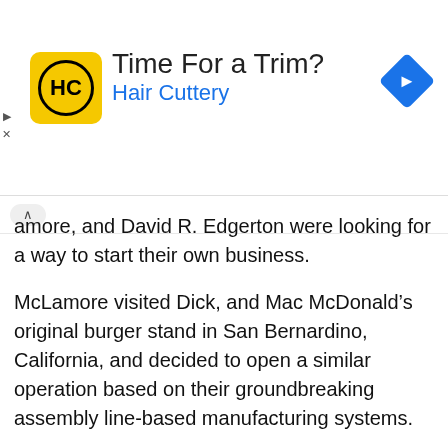[Figure (infographic): Advertisement banner for Hair Cuttery showing logo, 'Time For a Trim?' headline, 'Hair Cuttery' subtitle in blue, and a blue navigation diamond icon. Small play and close controls on left side.]
amore, and David R. Edgerton were looking for a way to start their own business.
McLamore visited Dick, and Mac McDonald’s original burger stand in San Bernardino, California, and decided to open a similar operation based on their groundbreaking assembly line-based manufacturing systems.
At 3090 NW 36th Street in Miami, on December 4, 1954, McLamore and Edgerton opened their first Insta-Burger King under the license they had obtained. It wasn’t long before the duo had locations all over the Miami-Dade area, and business was booming.